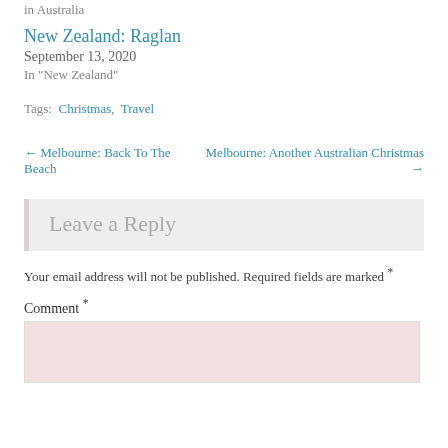in  Australia
New Zealand: Raglan
September 13, 2020
In "New Zealand"
Tags:  Christmas,  Travel
← Melbourne: Back To The Beach    Melbourne: Another Australian Christmas →
Leave a Reply
Your email address will not be published. Required fields are marked *
Comment *